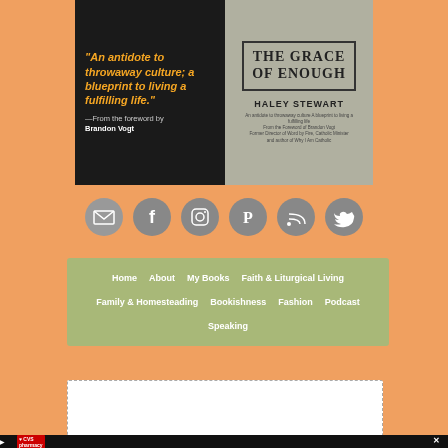[Figure (illustration): Book cover for 'The Grace of Enough' by Haley Stewart, with a quote: 'An antidote to throwaway culture; a blueprint to living a fulfilling life.' —From the foreword by Brandon Vogt. Book cover shows title on a weathered wood background.]
[Figure (infographic): Row of six circular social media icon buttons (gray): email, Facebook, Instagram, Pinterest, RSS, Twitter]
Home | About | My Books | Faith & Liturgical Living | Family & Homesteading | Bookishness | Fashion | Podcast | Speaking
[Figure (screenshot): Partially visible dashed-border content box at the bottom of the page, with ad bar showing CVS Pharmacy logo and navigation arrow at bottom.]